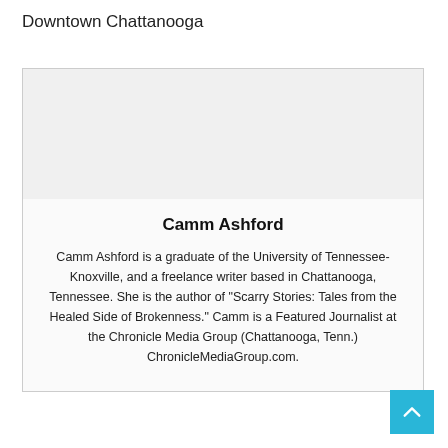Downtown Chattanooga
Camm Ashford

Camm Ashford is a graduate of the University of Tennessee-Knoxville, and a freelance writer based in Chattanooga, Tennessee. She is the author of "Scarry Stories: Tales from the Healed Side of Brokenness." Camm is a Featured Journalist at the Chronicle Media Group (Chattanooga, Tenn.) ChronicleMediaGroup.com.